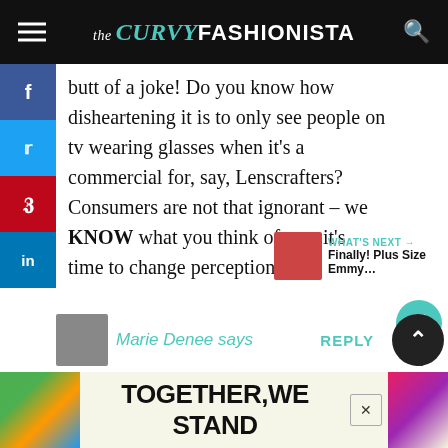the CURVY FASHIONISTA
butt of a joke! Do you know how disheartening it is to only see people on tv wearing glasses when it's a commercial for, say, Lenscrafters? Consumers are not that ignorant – we KNOW what you think of us…it's time to change perceptions by changing the imagery. I haven't had a chance to see these shows yet – they are sitting in my DVR 🙂 Very excited, though….
Marie Denee says
REPLY
[Figure (screenshot): Ad banner reading TOGETHER WE STAND]